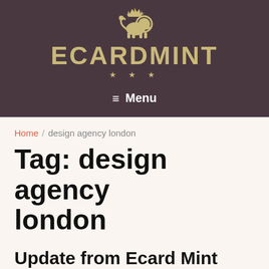[Figure (logo): EcardMint logo with lion heraldic figure above the text ECARDMINT in gold/khaki letters, with three stars below]
≡  Menu
Home / design agency london
Tag: design agency london
Update from Ecard Mint